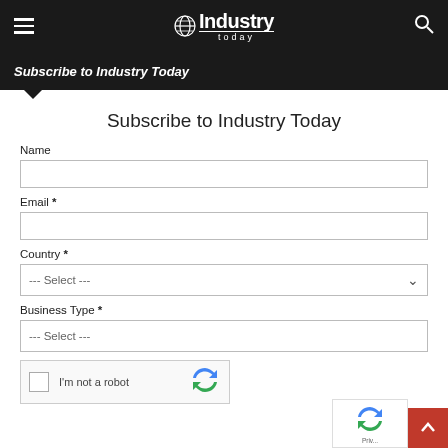Industry Today
Subscribe to Industry Today
Name
Email *
Country *
Business Type *
I'm not a robot